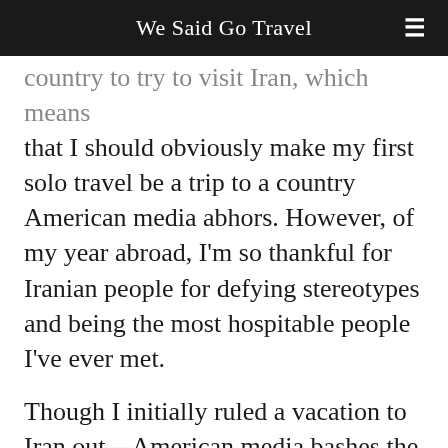We Said Go Travel
country to try to visit Iran, which means that I should obviously make my first solo travel be a trip to a country American media abhors. However, of my year abroad, I'm so thankful for Iranian people for defying stereotypes and being the most hospitable people I've ever met.
Though I initially ruled a vacation to Iran out—American media bashes the Islamic country on a near constant basis and acts as though its people are all evil—the idea sunk into my head. Iran, the home of Persepolis, the